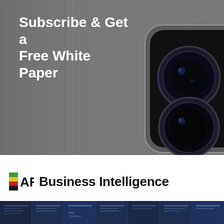[Figure (photo): Close-up photo of a smartphone camera module with dual lenses and LED flash on a gray device body, with white bold text overlay reading 'Subscribe & Get a Free White Paper']
Subscribe & Get a Free White Paper
[Figure (logo): AR Business Intelligence logo with colorful flag icon (green, yellow, red, blue stripes) next to 'AR' letters and 'Business Intelligence' text]
[Figure (screenshot): Strip of dark blue presentation slide thumbnails at the bottom of the page]